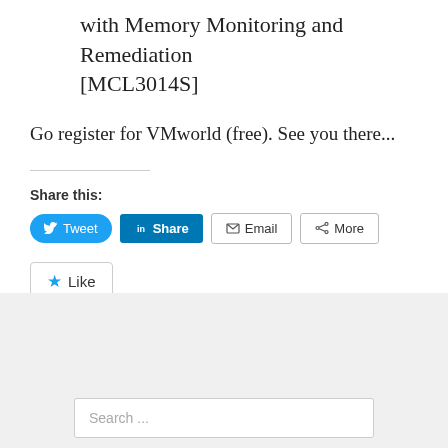with Memory Monitoring and Remediation [MCL3014S]
Go register for VMworld (free). See you there...
Share this:
Tweet | Share | Email | More
Like
Be the first to like this.